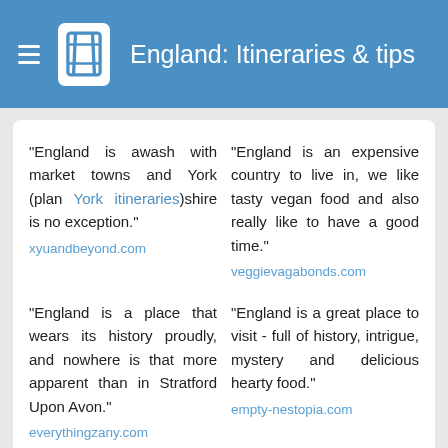England: Itineraries & tips
"England is awash with market towns and York (plan York itineraries)shire is no exception."
xyuandbeyond.com
"England is an expensive country to live in, we like tasty vegan food and also really like to have a good time."
veggievagabonds.com
"England is a place that wears its history proudly, and nowhere is that more apparent than in Stratford Upon Avon."
everythingzany.com
"England is a great place to visit - full of history, intrigue, mystery and delicious hearty food."
empty-nestopia.com